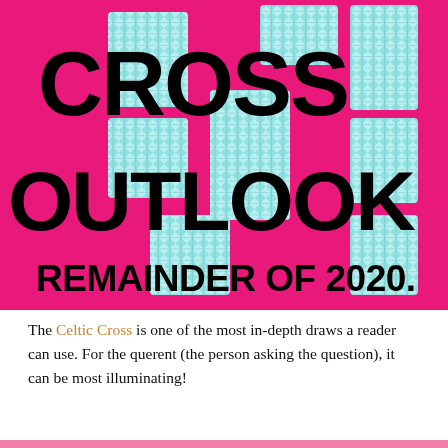[Figure (illustration): Pink/magenta background with a cross/plus shape made of cyan gingham-patterned tiles. Large bold black text reads 'CROSS', 'OUTLOOK', and 'REMAINDER OF 2020.' overlaid on the image.]
The Celtic Cross is one of the most in-depth draws a reader can use. For the querent (the person asking the question), it can be most illuminating!